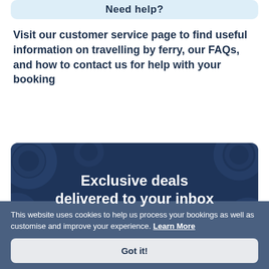Need help?
Visit our customer service page to find useful information on travelling by ferry, our FAQs, and how to contact us for help with your booking
[Figure (illustration): Dark navy promotional banner with circular decorative background pattern reading 'Exclusive deals delivered to your inbox']
Exclusive deals delivered to your inbox
This website uses cookies to help us process your bookings as well as customise and improve your experience. Learn More
Got it!